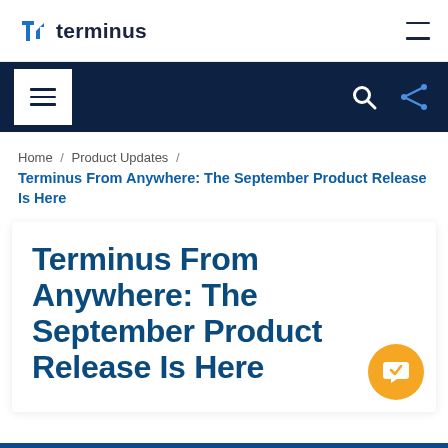terminus
[Figure (screenshot): Dark navy navigation bar with hamburger menu on left (white box), search icon and share icon on right]
Home / Product Updates / Terminus From Anywhere: The September Product Release Is Here
Terminus From Anywhere: The September Product Release Is Here